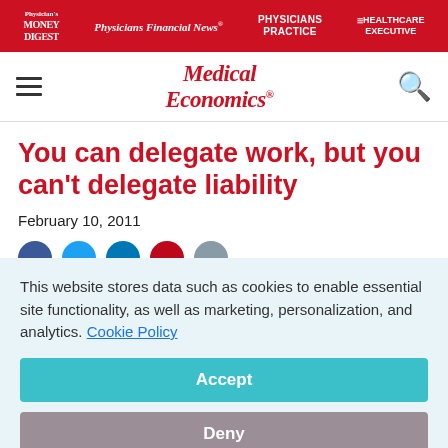Physician's Money Digest | Physicians Financial News | Physicians Practice | Healthcare Executive
Medical Economics
You can delegate work, but you can't delegate liability
February 10, 2011
This website stores data such as cookies to enable essential site functionality, as well as marketing, personalization, and analytics. Cookie Policy
Accept
Deny